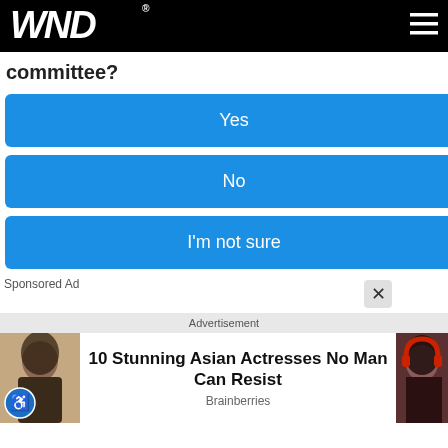WND
committee?
Yes
No
I'm not sure
Sponsored Ad
Advertisement
[Figure (photo): Photo of a woman on the left side of an ad banner]
10 Stunning Asian Actresses No Man Can Resist
Brainberries